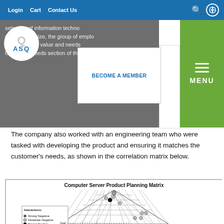Login  Cart  Contact Us
selection of information technolo... s... size, the group of emplo... determine the value and needs Customer Needs section of the House of Quality.
The company also worked with an engineering team who were tasked with developing the product and ensuring it matches the customer's needs, as shown in the correlation matrix below.
[Figure (other): Computer Server Product Planning Matrix — a triangular correlation matrix (roof of the House of Quality) with diamond-shaped cells. Symbols inside cells indicate: Strong Negative (filled plus), Moderate Negative (circle plus), Strong Positive (filled circle), Moderate Negative (open circle). A legend box in the lower left labels these interactions. A 'Goal' row runs along the bottom of the triangle with directional arrows and zeros.]